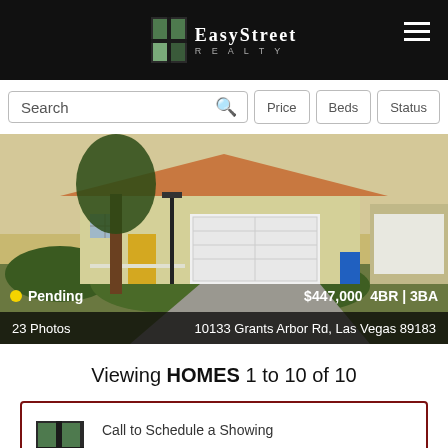[Figure (logo): EasyStreet Realty logo on black header bar with hamburger menu icon]
[Figure (screenshot): Search bar with Price, Beds, Status filter buttons]
[Figure (photo): House exterior photo showing a single-story home with white garage door, landscaping, and paved driveway. Status badge: Pending (yellow dot). Price: $447,000, 4BR | 3BA. Caption: 23 Photos, Address: 10133 Grants Arbor Rd, Las Vegas 89183]
Viewing HOMES 1 to 10 of 10
Call to Schedule a Showing
(702) 323-5946